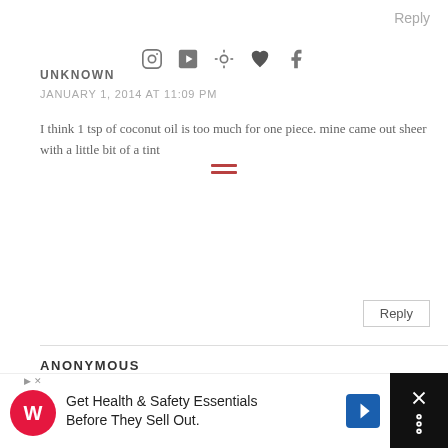Reply
UNKNOWN
JANUARY 1, 2014 AT 11:09 PM
I think 1 tsp of coconut oil is too much for one piece. mine came out sheer with a little bit of a tint
Reply
ANONYMOUS
JANUARY 27, 2014 AT 9:42 AM
Does it TASTE like a crayon?!
Reply
UNKNOWN
MARCH 15, 2014 AT 5:30 PM
it can so if you're thinking about doing this and do mind the taste you should get some essential oils to add to the "rec
Get Health & Safety Essentials Before They Sell Out.